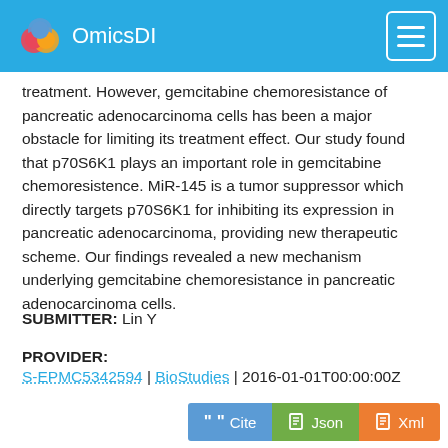OmicsDI
treatment. However, gemcitabine chemoresistance of pancreatic adenocarcinoma cells has been a major obstacle for limiting its treatment effect. Our study found that p70S6K1 plays an important role in gemcitabine chemoresistence. MiR-145 is a tumor suppressor which directly targets p70S6K1 for inhibiting its expression in pancreatic adenocarcinoma, providing new therapeutic scheme. Our findings revealed a new mechanism underlying gemcitabine chemoresistance in pancreatic adenocarcinoma cells.
SUBMITTER: Lin Y
PROVIDER: S-EPMC5342594 | BioStudies | 2016-01-01T00:00:00Z
REPOSITORIES: biostudies
ACCESS DATA